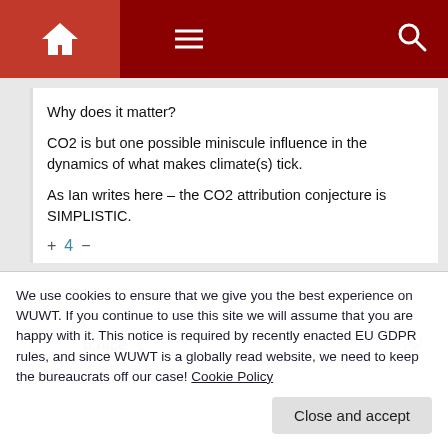[Figure (screenshot): Dark red navigation bar with home icon, hamburger menu icon, and search icon]
Why does it matter?

CO2 is but one possible miniscule influence in the dynamics of what makes climate(s) tick.

As Ian writes here – the CO2 attribution conjecture is SIMPLISTIC.
+ 4 −
b.nice
We use cookies to ensure that we give you the best experience on WUWT. If you continue to use this site we will assume that you are happy with it. This notice is required by recently enacted EU GDPR rules, and since WUWT is a globally read website, we need to keep the bureaucrats off our case! Cookie Policy
Close and accept